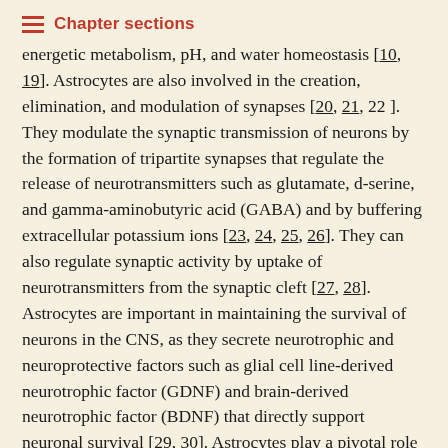Chapter sections
energetic metabolism, pH, and water homeostasis [10, 19]. Astrocytes are also involved in the creation, elimination, and modulation of synapses [20, 21, 22]. They modulate the synaptic transmission of neurons by the formation of tripartite synapses that regulate the release of neurotransmitters such as glutamate, d-serine, and gamma-aminobutyric acid (GABA) and by buffering extracellular potassium ions [23, 24, 25, 26]. They can also regulate synaptic activity by uptake of neurotransmitters from the synaptic cleft [27, 28]. Astrocytes are important in maintaining the survival of neurons in the CNS, as they secrete neurotrophic and neuroprotective factors such as glial cell line-derived neurotrophic factor (GDNF) and brain-derived neurotrophic factor (BDNF) that directly support neuronal survival [29, 30]. Astrocytes play a pivotal role in